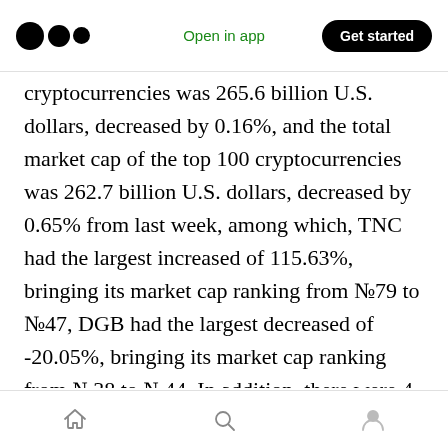Medium — Open in app | Get started
cryptocurrencies was 265.6 billion U.S. dollars, decreased by 0.16%, and the total market cap of the top 100 cryptocurrencies was 262.7 billion U.S. dollars, decreased by 0.65% from last week, among which, TNC had the largest increased of 115.63%, bringing its market cap ranking from №79 to №47, DGB had the largest decreased of -20.05%, bringing its market cap ranking from №38 to №44. In addition, there were 4 projects that entered TOP100, namely, DIVI (Divi, increased 16.54%, Now №94), CHSB (SwissBorg, increased 36.89%, Now №85), ICH (Idea Chain
Home | Search | Profile